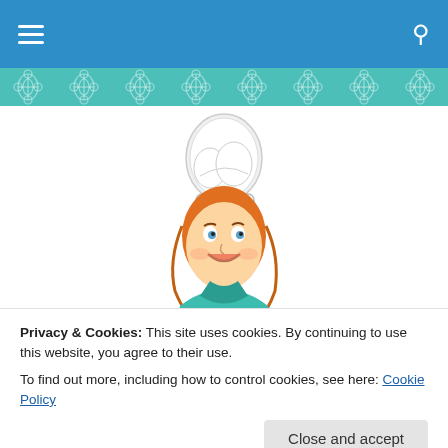Navigation bar with hamburger menu and search icon
[Figure (illustration): Decorative teal damask/floral pattern strip banner]
[Figure (logo): Cartoon illustration of a smiling red-haired woman in a teal outfit and white chef hat, holding a recipe book. Overlaid with cursive teal brand text 'A Pinch Here, A Dash There']
Privacy & Cookies: This site uses cookies. By continuing to use this website, you agree to their use. To find out more, including how to control cookies, see here: Cookie Policy
Close and accept
Easy Dessert!